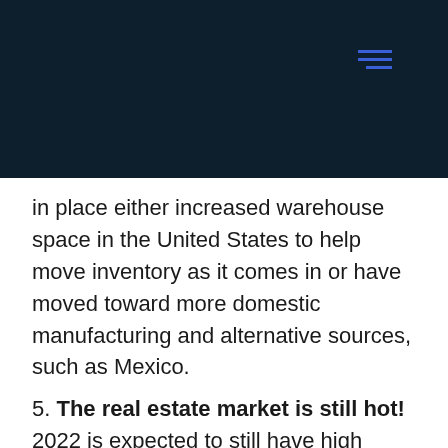[navigation header bar with menu icon]
in place either increased warehouse space in the United States to help move inventory as it comes in or have moved toward more domestic manufacturing and alternative sources, such as Mexico.
5. The real estate market is still hot! 2022 is expected to still have high demand for homes, as millennials are entering the market in their peak earning years. Freddie Mac predicts 6.8M home sales in ‘22 – equal to what happened in ‘21 and 300k more than ‘20. Home prices are